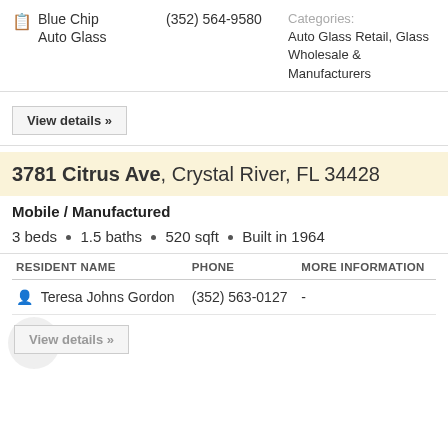Blue Chip Auto Glass  (352) 564-9580  Categories: Auto Glass Retail, Glass Wholesale & Manufacturers
View details »
3781 Citrus Ave, Crystal River, FL 34428
Mobile / Manufactured
3 beds · 1.5 baths · 520 sqft · Built in 1964
| RESIDENT NAME | PHONE | MORE INFORMATION |
| --- | --- | --- |
| Teresa Johns Gordon | (352) 563-0127 | - |
View details »